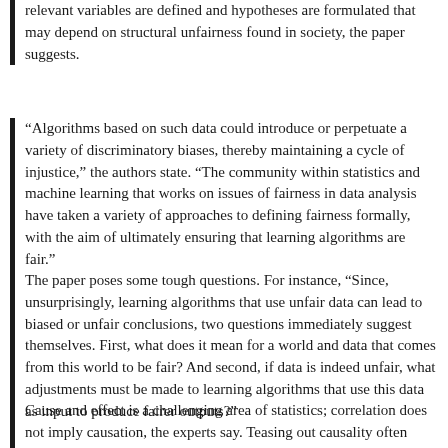relevant variables are defined and hypotheses are formulated that may depend on structural unfairness found in society, the paper suggests.
“Algorithms based on such data could introduce or perpetuate a variety of discriminatory biases, thereby maintaining a cycle of injustice,” the authors state. “The community within statistics and machine learning that works on issues of fairness in data analysis have taken a variety of approaches to defining fairness formally, with the aim of ultimately ensuring that learning algorithms are fair.”
The paper poses some tough questions. For instance, “Since, unsurprisingly, learning algorithms that use unfair data can lead to biased or unfair conclusions, two questions immediately suggest themselves. First, what does it mean for a world and data that comes from this world to be fair? And second, if data is indeed unfair, what adjustments must be made to learning algorithms that use this data as input to produce fairer outputs?”
Cause and effect is a challenging area of statistics; correlation does not imply causation, the experts say. Teasing out causality often involved obtaining data in a carefully controlled way. An